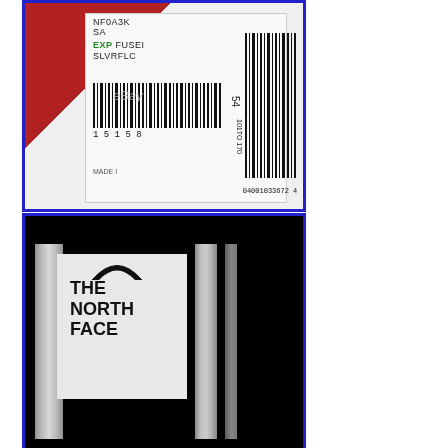[Figure (photo): Close-up photo of a product tag/label showing item code NF0A3K, SA, EXP FUSE, SLVRFLC text in green stamp, with two barcodes, number 54, text '101 TO 170', barcode number '15158', 'MADE I...' text, and eBay watermark. Tag is on a red product background.]
[Figure (photo): Photo of The North Face bag/backpack in black with reflective silver strips on the sides and a large reflective silver patch showing 'THE NORTH FACE' logo with the half-dome arc symbol in black.]